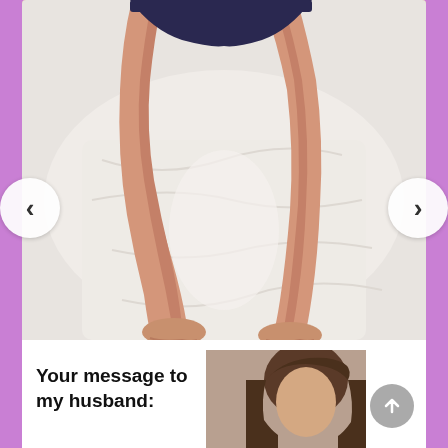[Figure (photo): Photo of person's legs on white bed sheets, viewed from above, wearing dark underwear]
Drunk Wife Sleeping in Your Friends House
[Figure (screenshot): Partial screenshot of a message card with bold text and a person's photo]
Your message to my husband: